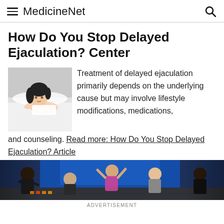MedicineNet
How Do You Stop Delayed Ejaculation? Center
Treatment of delayed ejaculation primarily depends on the underlying cause but may involve lifestyle modifications, medications, and counseling. Read more: How Do You Stop Delayed Ejaculation? Article
[Figure (photo): Advertisement banner showing people exercising in a gym setting with blue background]
ADVERTISEMENT